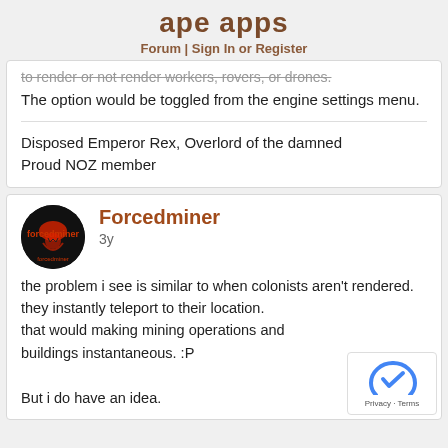ape apps
Forum | Sign In or Register
to render or not render workers, rovers, or drones. The option would be toggled from the engine settings menu.
Disposed Emperor Rex, Overlord of the damned
Proud NOZ member
Forcedminer
3y
the problem i see is similar to when colonists aren't rendered.
they instantly teleport to their location.
that would making mining operations and buildings instantaneous. :P

But i do have an idea.